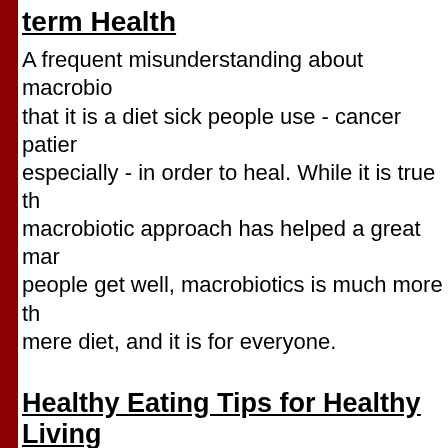term Health
A frequent misunderstanding about macrobio... that it is a diet sick people use - cancer patier especially - in order to heal. While it is true th macrobiotic approach has helped a great mar people get well, macrobiotics is much more th mere diet, and it is for everyone.
Healthy Eating Tips for Healthy Living
Eating healthy is fast becoming a way of life. American's are living longer, however, the goa many is not to simply live longer, the goal it is live a longer and healthier life.
Boost Your Immune System